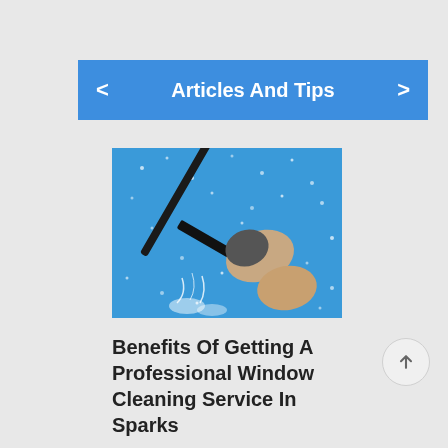Articles And Tips
[Figure (photo): A person using a squeegee to clean a water-sprayed window against a blue sky background]
Benefits Of Getting A Professional Window Cleaning Service In Sparks